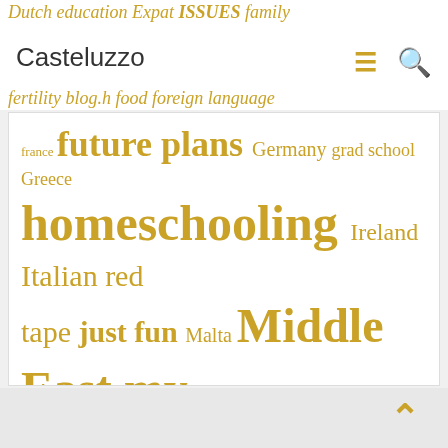Dutch education Expat issues family fertility blog.h food foreign language france future plans Germany grad school Greece homeschooling Ireland Italian red tape just fun Malta Middle East my faith my own brand of politics natural healing nature study Philippines raw milk Spain sugar gliders Syria the farm The Hague The Netherlands Things I love about Italy thoughts travel Tunisia work
[Figure (infographic): Tag cloud with blog category tags in gold/amber color at varying font sizes. Tags include: france, future plans, Germany, grad school, Greece, homeschooling, Ireland, Italian red tape, just fun, Malta, Middle East, my faith, my own brand of politics, natural healing, nature study, Philippines, raw milk, Spain, sugar gliders, Syria, the farm, The Hague, The Netherlands, Things I love about Italy, thoughts, travel, Tunisia, work]
^